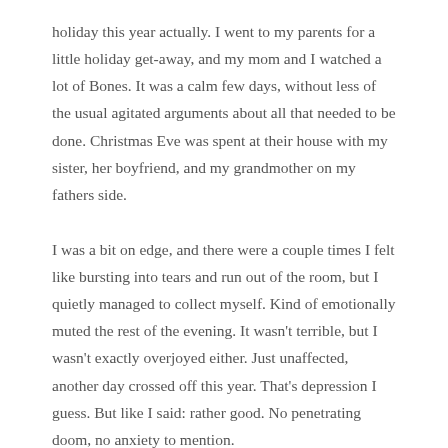holiday this year actually. I went to my parents for a little holiday get-away, and my mom and I watched a lot of Bones. It was a calm few days, without less of the usual agitated arguments about all that needed to be done. Christmas Eve was spent at their house with my sister, her boyfriend, and my grandmother on my fathers side.
I was a bit on edge, and there were a couple times I felt like bursting into tears and run out of the room, but I quietly managed to collect myself. Kind of emotionally muted the rest of the evening. It wasn't terrible, but I wasn't exactly overjoyed either. Just unaffected, another day crossed off this year. That's depression I guess. But like I said: rather good. No penetrating doom, no anxiety to mention.